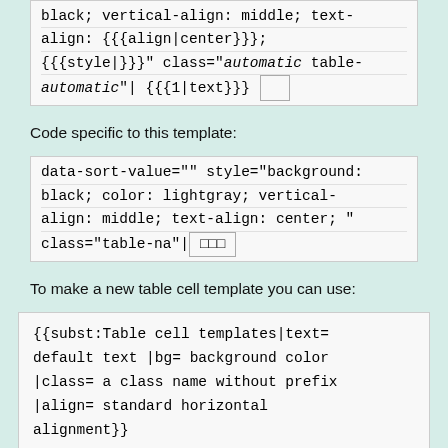black; vertical-align: middle; text-align: {{align|center}}; {{style|}}}" class="automatic table-automatic"| {{{1|text}}}
Code specific to this template:
data-sort-value="" style="background: black; color: lightgray; vertical-align: middle; text-align: center; " class="table-na"|□□□
To make a new table cell template you can use:
{{subst:Table cell templates|text= default text |bg= background color |class= a class name without prefix |align= standard horizontal alignment}}